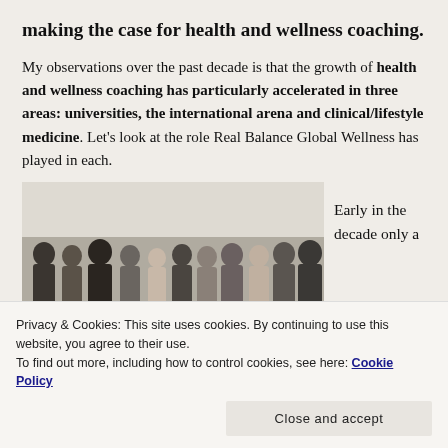making the case for health and wellness coaching.
My observations over the past decade is that the growth of health and wellness coaching has particularly accelerated in three areas: universities, the international arena and clinical/lifestyle medicine. Let's look at the role Real Balance Global Wellness has played in each.
[Figure (photo): Group photo of approximately 11–12 people standing together in a room with white walls.]
Early in the decade only a
Privacy & Cookies: This site uses cookies. By continuing to use this website, you agree to their use.
To find out more, including how to control cookies, see here: Cookie Policy
Close and accept